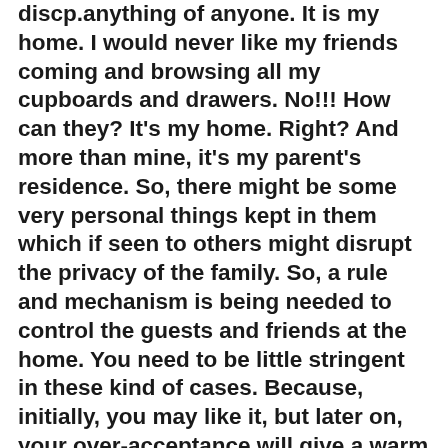discp.anything of anyone. It is my home. I would never like my friends coming and browsing all my cupboards and drawers. No!!! How can they? It's my home. Right? And more than mine, it's my parent's residence. So, there might be some very personal things kept in them which if seen to others might disrupt the privacy of the family. So, a rule and mechanism is being needed to control the guests and friends at the home. You need to be little stringent in these kind of cases. Because, initially, you may like it, but later on, your over-acceptance will give a warm hug of approval to your friends and others and they might start browsing everything of yours without your permission. There's a boy in my class who never gives his mobile in anyone's hand. And I like it. It's very nice. Else, the boys of my class takes anyone's mobile from their hand and hide it. Later on, when they get time in between, they read all their personal messages and share it with others. But, with this boy, they have never done that. Because he never gave approval in the last 3 years to anyone to touch his mobile. Over-accepting others' intolerable activities is a matter of distance in his case.